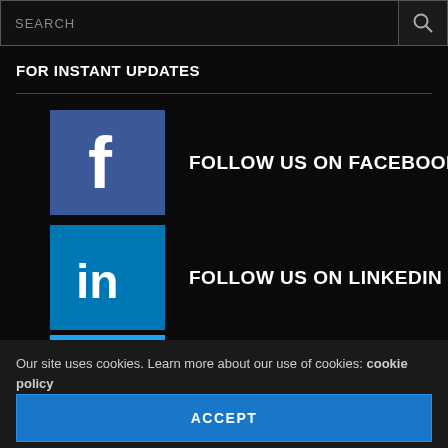[Figure (screenshot): Search bar with magnifying glass icon on dark background]
FOR INSTANT UPDATES
FOLLOW US ON FACEBOOK
FOLLOW US ON LINKEDIN
FOLLOW US ON TWIITER
Our site uses cookies. Learn more about our use of cookies: cookie policy
ACCEPT